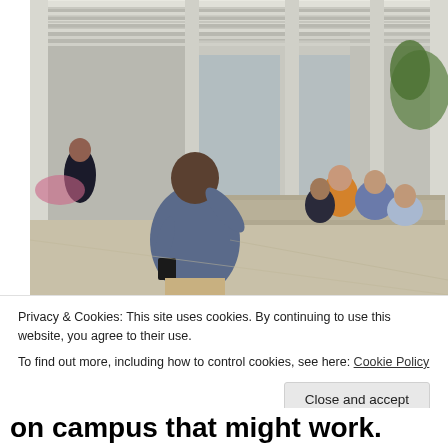[Figure (photo): A person standing with their back to the camera, arm raised, addressing a group of students seated on benches in an outdoor campus area with a modern pergola structure overhead. The scene appears to be an outdoor lecture or speech on a college campus.]
Privacy & Cookies: This site uses cookies. By continuing to use this website, you agree to their use.
To find out more, including how to control cookies, see here: Cookie Policy
Close and accept
on campus that might work.